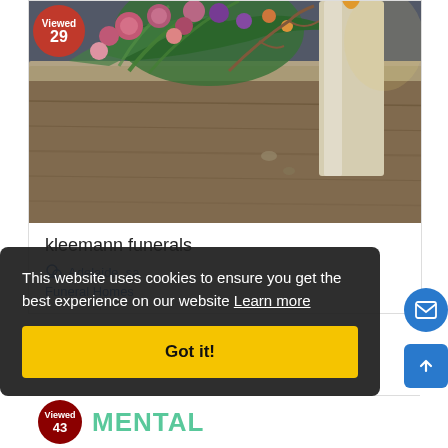[Figure (photo): Photograph of a funeral casket with colourful floral arrangement and a lit pillar candle, viewed from above. A red circular badge in the top-left reads 'Viewed 29'.]
kleemann funerals
Adelaide, sa
Funeral Homes
This website uses cookies to ensure you get the best experience on our website Learn more
Got it!
[Figure (other): Partial bottom card showing a dark red circular badge with 'Viewed 43' and green partial text 'MENTAL']